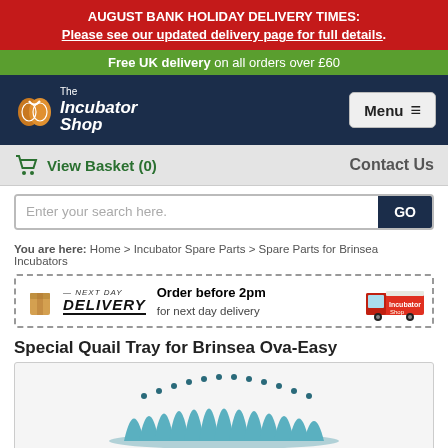AUGUST BANK HOLIDAY DELIVERY TIMES: Please see our updated delivery page for full details.
Free UK delivery on all orders over £60
[Figure (logo): The Incubator Shop logo with egg icon and Menu button]
View Basket (0)   Contact Us
Enter your search here. GO
You are here: Home > Incubator Spare Parts > Spare Parts for Brinsea Incubators
[Figure (infographic): Next Day Delivery banner: Order before 2pm for next day delivery, with delivery van graphic]
Special Quail Tray for Brinsea Ova-Easy
[Figure (photo): Photo of a quail tray product for Brinsea Ova-Easy incubator]